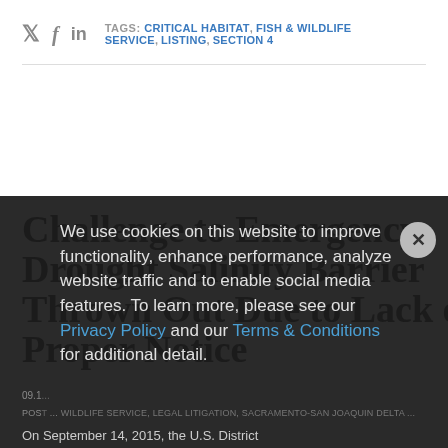TAGS: CRITICAL HABITAT, FISH & WILDLIFE SERVICE, LISTING, SECTION 4
Challenge to Emergency Drought Salinity Barrier Thrown Out Due to Lack of Proper Notice
09.1...
POST ... WILDLIFE SERVICE, LEGAL LITIGATION, SACRAMENTO-SAN JOAQUIN DELTA ...
We use cookies on this website to improve functionality, enhance performance, analyze website traffic and to enable social media features. To learn more, please see our Privacy Policy and our Terms & Conditions for additional detail.
On September 14, 2015, the U.S. District